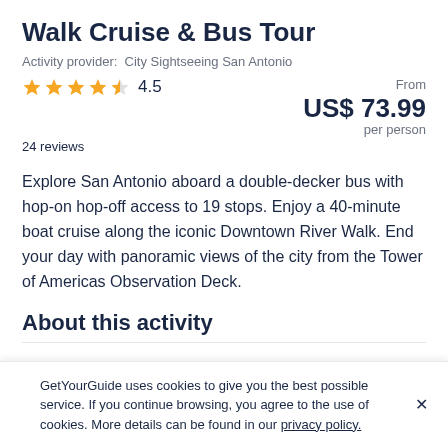Walk Cruise & Bus Tour
Activity provider:  City Sightseeing San Antonio
★★★★½ 4.5   From US$ 73.99 per person
24 reviews
Explore San Antonio aboard a double-decker bus with hop-on hop-off access to 19 stops. Enjoy a 40-minute boat cruise along the iconic Downtown River Walk. End your day with panoramic views of the city from the Tower of Americas Observation Deck.
About this activity
GetYourGuide uses cookies to give you the best possible service. If you continue browsing, you agree to the use of cookies. More details can be found in our privacy policy.